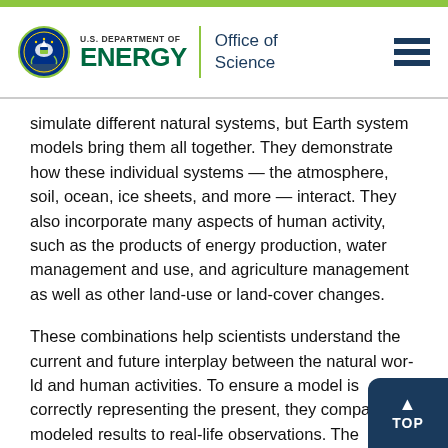U.S. DEPARTMENT OF ENERGY | Office of Science
simulate different natural systems, but Earth system models bring them all together. They demonstrate how these individual systems — the atmosphere, soil, ocean, ice sheets, and more — interact. They also incorporate many aspects of human activity, such as the products of energy production, water management and use, and agriculture management as well as other land-use or land-cover changes.
These combinations help scientists understand the current and future interplay between the natural world and human activities. To ensure a model is correctly representing the present, they compare modeled results to real-life observations. The predictions looking decades into the future help people planning bridges or